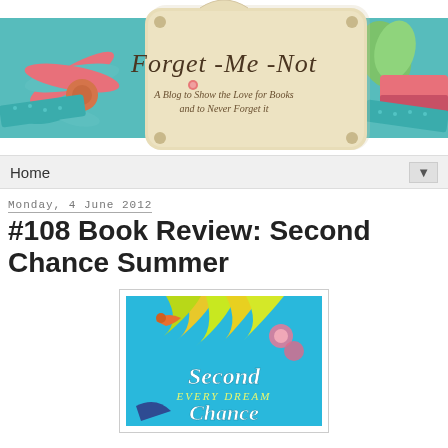[Figure (illustration): Forget-Me-Not blog header banner with teal/turquoise background, decorative ribbons, bows, and a wooden sign reading 'Forget -Me- Not / A Blog to Show the Love for Books and to Never Forget it']
Home ▼
Monday, 4 June 2012
#108 Book Review: Second Chance Summer
[Figure (illustration): Book cover of 'Second Chance Summer' with colorful tropical/summer illustration on bright blue background, featuring birds, flowers, and script lettering]